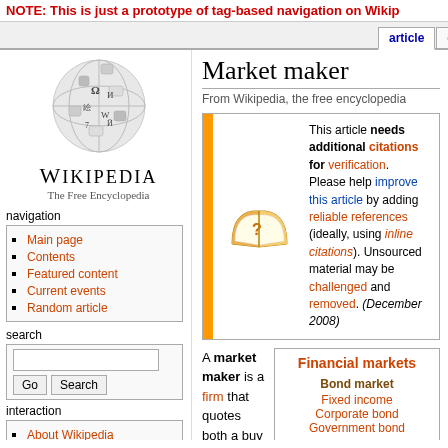NOTE: This is just a prototype of tag-based navigation on Wikip
article | discussion | edit this page | hi
[Figure (logo): Wikipedia globe logo with puzzle pieces]
WIKIPEDIA
The Free Encyclopedia
navigation
Main page
Contents
Featured content
Current events
Random article
search
interaction
About Wikipedia
Community portal
Recent changes
Contact Wikipedia
Donate to Wikipedia
Market maker
From Wikipedia, the free encyclopedia
This article needs additional citations for verification. Please help improve this article by adding reliable references (ideally, using inline citations). Unsourced material may be challenged and removed. (December 2008)
A market maker is a firm that quotes both a buy and a sell price in a
Financial markets
Bond market
Fixed income
Corporate bond
Government bond